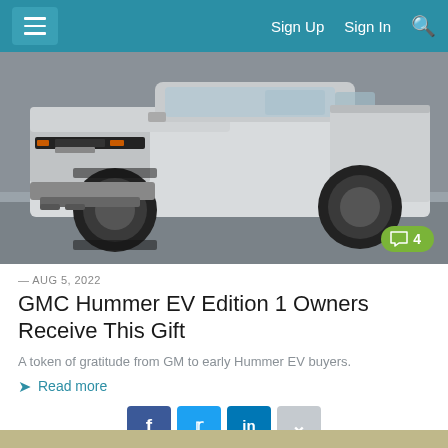≡  Sign Up  Sign In  🔍
[Figure (photo): White GMC Hummer EV pickup truck photographed from the front-left angle on a concrete surface with a grey wall background. A green comment badge showing '4' is overlaid in the bottom-right corner.]
— AUG 5, 2022
GMC Hummer EV Edition 1 Owners Receive This Gift
A token of gratitude from GM to early Hummer EV buyers.
Read more